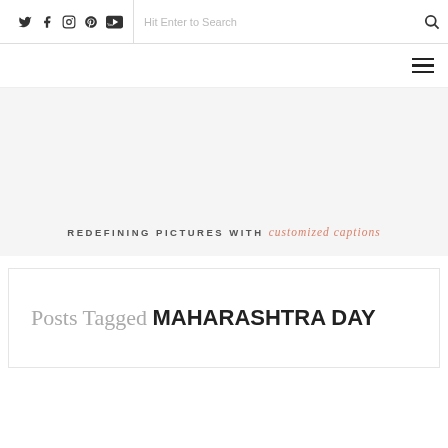Social icons: Twitter, Facebook, Instagram, Pinterest, YouTube | Search: Hit Enter to Search
Navigation menu (hamburger)
[Figure (other): Gray banner area with tagline text]
REDEFINING PICTURES WITH customized captions
Posts Tagged MAHARASHTRA DAY